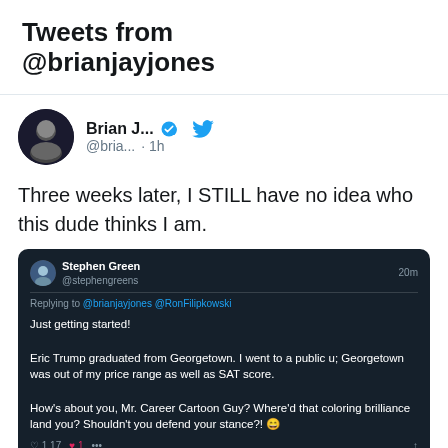Tweets from @brianjayjones
Brian J... @bria... · 1h
Three weeks later, I STILL have no idea who this dude thinks I am.
[Figure (screenshot): Embedded dark-themed tweet screenshot: Stephen Green replying to @brianjayjones @RonFilipkowski. Text: 'Just getting started! Eric Trump graduated from Georgetown. I went to a public u; Georgetown was out of my price range as well as SAT score. How's about you, Mr. Career Cartoon Guy? Where'd that coloring brilliance land you? Shouldn't you defend your stance?!' with emoji. Reply count 1, like count 1.]
7   31
Brian J... @... · Sep 1